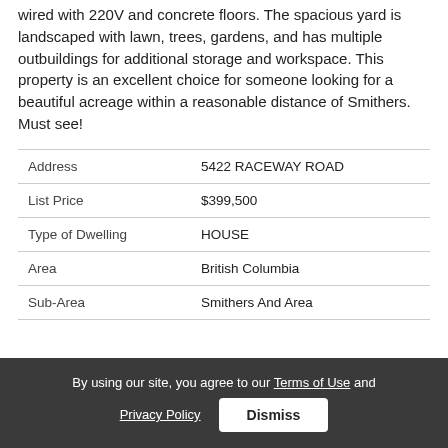wired with 220V and concrete floors. The spacious yard is landscaped with lawn, trees, gardens, and has multiple outbuildings for additional storage and workspace. This property is an excellent choice for someone looking for a beautiful acreage within a reasonable distance of Smithers. Must see!
| Address | 5422 RACEWAY ROAD |
| List Price | $399,500 |
| Type of Dwelling | HOUSE |
| Area | British Columbia |
| Sub-Area | Smithers And Area |
By using our site, you agree to our Terms of Use and Privacy Policy  Dismiss